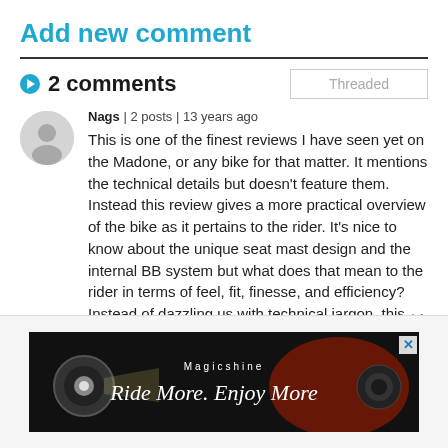Add new comment
2 comments
Nags | 2 posts | 13 years ago
This is one of the finest reviews I have seen yet on the Madone, or any bike for that matter. It mentions the technical details but doesn't feature them. Instead this review gives a more practical overview of the bike as it pertains to the rider. It's nice to know about the unique seat mast design and the internal BB system but what does that mean to the rider in terms of feel, fit, finesse, and efficiency? Instead of dazzling us with technical jargon, this review nails down what the rider needs
[Figure (advertisement): Magicshine advertisement banner with bike light image and text 'Ride More. Enjoy More']